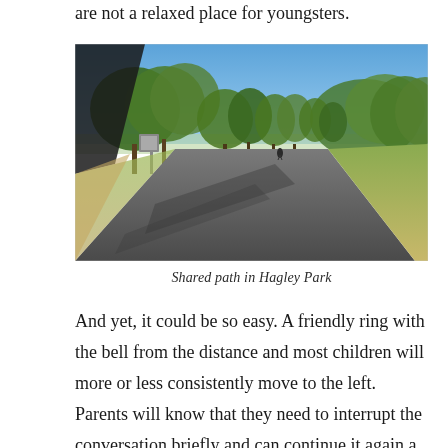are not a relaxed place for youngsters.
[Figure (photo): A paved shared path running through Hagley Park, lined with tall green trees under a blue sky. A cyclist is visible in the distance on the path. Grass and gravel are on either side of the path.]
Shared path in Hagley Park
And yet, it could be so easy. A friendly ring with the bell from the distance and most children will more or less consistently move to the left. Parents will know that they need to interrupt the conversation briefly and can continue it again a few seconds later. Dog-walkers